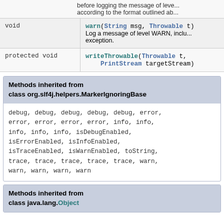before logging the message of level... according to the format outlined ab...
| Type | Method and Description |
| --- | --- |
| void | warn(String msg, Throwable t)
Log a message of level WARN, inclu... exception. |
| protected void | writeThrowable(Throwable t, PrintStream targetStream) |
Methods inherited from class org.slf4j.helpers.MarkerIgnoringBase
debug, debug, debug, debug, debug, error, error, error, error, error, info, info, info, info, info, isDebugEnabled, isErrorEnabled, isInfoEnabled, isTraceEnabled, isWarnEnabled, toString, trace, trace, trace, trace, trace, warn, warn, warn, warn, warn
Methods inherited from class java.lang.Object